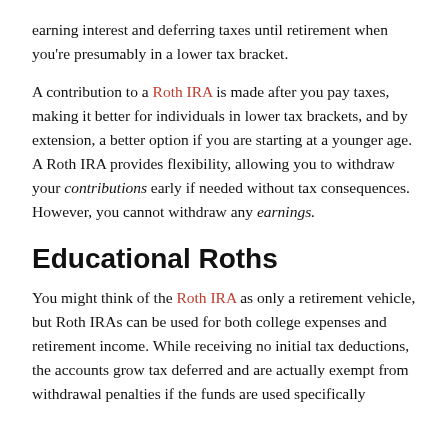earning interest and deferring taxes until retirement when you're presumably in a lower tax bracket.
A contribution to a Roth IRA is made after you pay taxes, making it better for individuals in lower tax brackets, and by extension, a better option if you are starting at a younger age.  A Roth IRA provides flexibility, allowing you to withdraw your contributions early if needed without tax consequences.  However, you cannot withdraw any earnings.
Educational Roths
You might think of the Roth IRA as only a retirement vehicle, but Roth IRAs can be used for both college expenses and retirement income. While receiving no initial tax deductions, the accounts grow tax deferred and are actually exempt from withdrawal penalties if the funds are used specifically